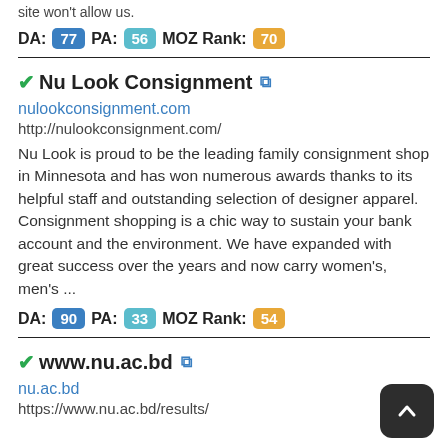site won't allow us.
DA: 77  PA: 56  MOZ Rank: 70
Nu Look Consignment
nulookconsignment.com
http://nulookconsignment.com/
Nu Look is proud to be the leading family consignment shop in Minnesota and has won numerous awards thanks to its helpful staff and outstanding selection of designer apparel. Consignment shopping is a chic way to sustain your bank account and the environment. We have expanded with great success over the years and now carry women's, men's ...
DA: 90  PA: 33  MOZ Rank: 54
www.nu.ac.bd
nu.ac.bd
https://www.nu.ac.bd/results/